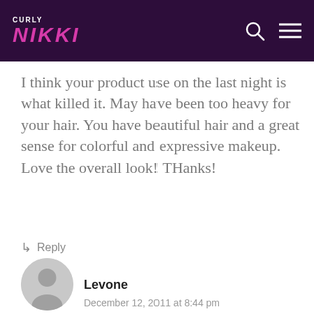CURLY NIKKI
I think your product use on the last night is what killed it. May have been too heavy for your hair. You have beautiful hair and a great sense for colorful and expressive makeup. Love the overall look! THanks!
Reply
[Figure (illustration): Generic user avatar silhouette circle]
Levone
December 12, 2011 at 8:44 pm